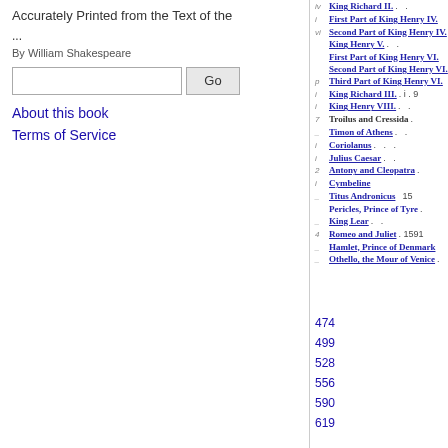Accurately Printed from the Text of the
...
By William Shakespeare
King Richard II.
First Part of King Henry IV.
Second Part of King Henry IV.
King Henry V.
First Part of King Henry VI.
Second Part of King Henry VI.
Third Part of King Henry VI.
King Richard III.
King Henry VIII.
Troilus and Cressida
Timon of Athens
Coriolanus
Julius Caesar
Antony and Cleopatra
Cymbeline
Titus Andronicus
Pericles, Prince of Tyre
King Lear
Romeo and Juliet
Hamlet, Prince of Denmark
Othello, the Mour of Venice
474
499
528
556
590
619
About this book
Terms of Service